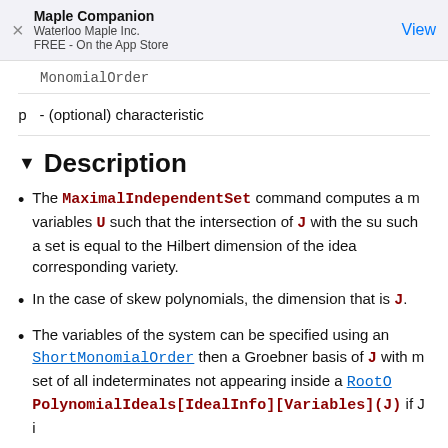Maple Companion
Waterloo Maple Inc.
FREE - On the App Store
MonomialOrder
p - (optional) characteristic
Description
The MaximalIndependentSet command computes a m variables U such that the intersection of J with the su such a set is equal to the Hilbert dimension of the idea corresponding variety.
In the case of skew polynomials, the dimension that is J.
The variables of the system can be specified using an ShortMonomialOrder then a Groebner basis of J with m set of all indeterminates not appearing inside a RootO PolynomialIdeals[IdealInfo][Variables](J) if J i
The option...